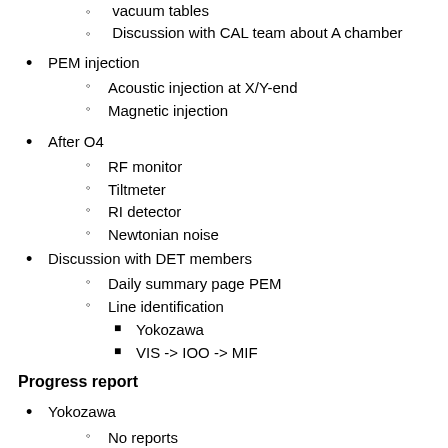vacuum tables
Discussion with CAL team about A chamber
PEM injection
Acoustic injection at X/Y-end
Magnetic injection
After O4
RF monitor
Tiltmeter
RI detector
Newtonian noise
Discussion with DET members
Daily summary page PEM
Line identification
Yokozawa
VIS -> IOO -> MIF
Progress report
Yokozawa
No reports
Washimi
No reports